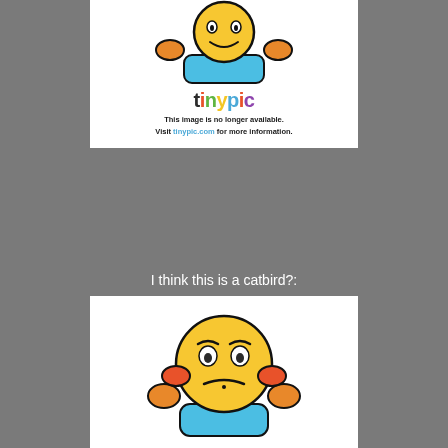[Figure (illustration): Tinypic 'image no longer available' placeholder showing a cartoon emoji figure with yellow face, orange ears, blue body, above the tinypic logo and text: 'This image is no longer available. Visit tinypic.com for more information.']
I think this is a catbird?:
[Figure (illustration): Tinypic 'image no longer available' placeholder showing a cartoon emoji figure with yellow face, frowning expression, orange ears, blue body bottom.]